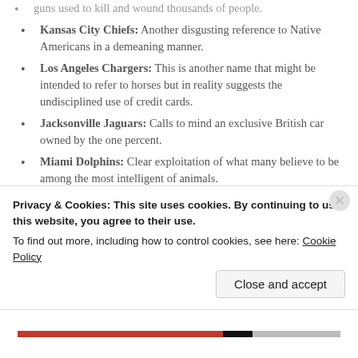guns used to kill and wound thousands of people.
Kansas City Chiefs: Another disgusting reference to Native Americans in a demeaning manner.
Los Angeles Chargers: This is another name that might be intended to refer to horses but in reality suggests the undisciplined use of credit cards.
Jacksonville Jaguars: Calls to mind an exclusive British car owned by the one percent.
Miami Dolphins: Clear exploitation of what many believe to be among the most intelligent of animals.
Minnesota Vikings: Why hold up as a positive example the group known for rape and
Privacy & Cookies: This site uses cookies. By continuing to use this website, you agree to their use.
To find out more, including how to control cookies, see here: Cookie Policy
Close and accept